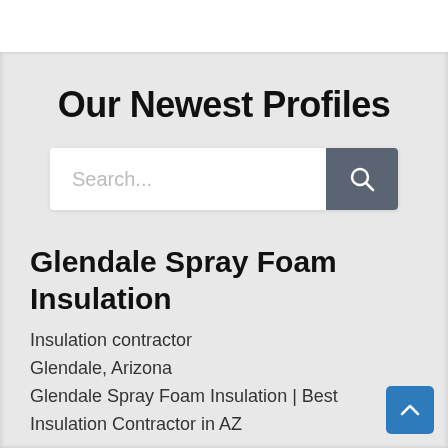Our Newest Profiles
[Figure (screenshot): Search bar with text input showing 'Search...' placeholder and a dark grey search button with magnifying glass icon]
Glendale Spray Foam Insulation
Insulation contractor
Glendale, Arizona
Glendale Spray Foam Insulation | Best Insulation Contractor in AZ